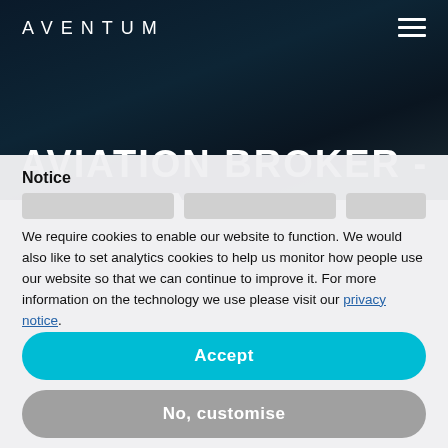AVENTUM
AVIATION BROKER - CONSILIUM
Notice
We require cookies to enable our website to function. We would also like to set analytics cookies to help us monitor how people use our website so that we can continue to improve it. For more information on the technology we use please visit our privacy notice.
Accept
No, customise